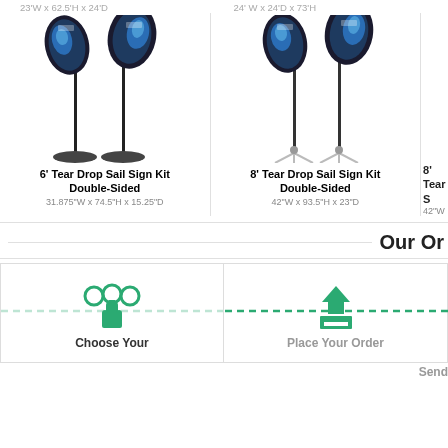23'W x 62.5'H x 24'D
24' W x 24'D x 73'H
[Figure (photo): 6 foot Tear Drop Sail Sign Kit Double-Sided product image showing two teardrop-shaped flags with black poles and oval bases]
6' Tear Drop Sail Sign Kit Double-Sided
31.875"W x 74.5"H x 15.25"D
[Figure (photo): 8 foot Tear Drop Sail Sign Kit Double-Sided product image showing two teardrop-shaped flags with black poles and tripod bases]
8' Tear Drop Sail Sign Kit Double-Sided
42"W x 93.5"H x 23"D
8' Tear S
42"W
Our Or
[Figure (infographic): Choose Your step icon: green hand with circles representing selection/customization]
Choose Your
[Figure (infographic): Place Your Order step icon: green upload arrow]
Place Your Order
Send